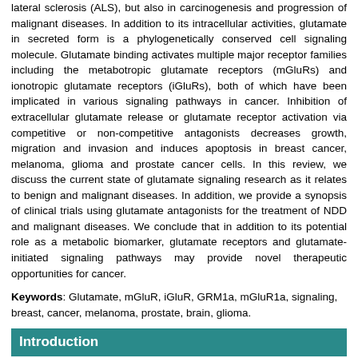lateral sclerosis (ALS), but also in carcinogenesis and progression of malignant diseases. In addition to its intracellular activities, glutamate in secreted form is a phylogenetically conserved cell signaling molecule. Glutamate binding activates multiple major receptor families including the metabotropic glutamate receptors (mGluRs) and ionotropic glutamate receptors (iGluRs), both of which have been implicated in various signaling pathways in cancer. Inhibition of extracellular glutamate release or glutamate receptor activation via competitive or non-competitive antagonists decreases growth, migration and invasion and induces apoptosis in breast cancer, melanoma, glioma and prostate cancer cells. In this review, we discuss the current state of glutamate signaling research as it relates to benign and malignant diseases. In addition, we provide a synopsis of clinical trials using glutamate antagonists for the treatment of NDD and malignant diseases. We conclude that in addition to its potential role as a metabolic biomarker, glutamate receptors and glutamate-initiated signaling pathways may provide novel therapeutic opportunities for cancer.
Keywords: Glutamate, mGluR, iGluR, GRM1a, mGluR1a, signaling, breast, cancer, melanoma, prostate, brain, glioma.
Introduction
Recent studies have implicated glutamate (Glu) signaling in the development and progression of malignant diseases. Glu, a non-essential amino acid, is the major excitatory neurotransmitter in the central and peripheral nervous systems (CNS, PNS). In addition, it functions as a source of energy for rapidly dividing cells such as lymphocytes and cancer cells (reviewed in [1]). Many decades of research have demonstrated the importance of glutamatergic signaling in the CNS [2, 3]. Processes such